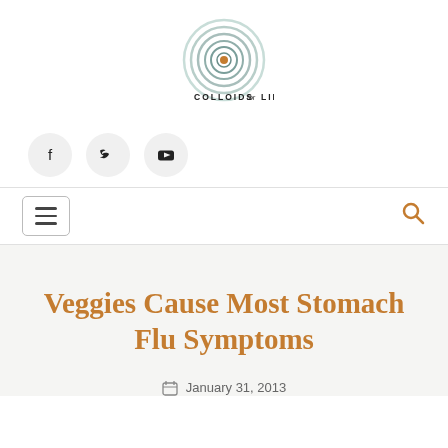[Figure (logo): Colloids for Life logo — concentric circles in teal/green with a brown center dot, text 'COLLOIDS for LIFE' below in uppercase]
[Figure (infographic): Social media icons: Facebook, Twitter, YouTube in grey circles]
[Figure (infographic): Navigation bar with hamburger menu button on left and search icon on right]
Veggies Cause Most Stomach Flu Symptoms
January 31, 2013